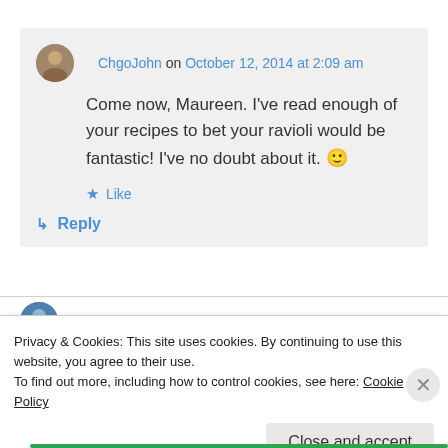ChgoJohn on October 12, 2014 at 2:09 am
Come now, Maureen. I've read enough of your recipes to bet your ravioli would be fantastic! I've no doubt about it. 🙂
Like
Reply
Privacy & Cookies: This site uses cookies. By continuing to use this website, you agree to their use.
To find out more, including how to control cookies, see here: Cookie Policy
Close and accept